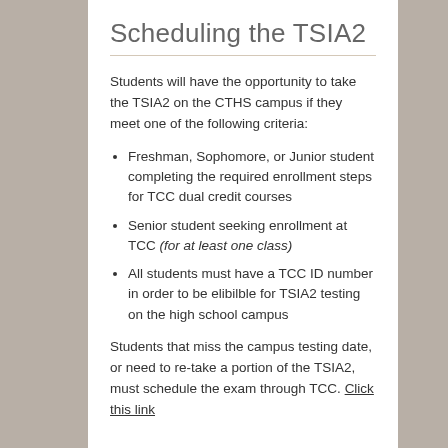Scheduling the TSIA2
Students will have the opportunity to take the TSIA2 on the CTHS campus if they meet one of the following criteria:
Freshman, Sophomore, or Junior student completing the required enrollment steps for TCC dual credit courses
Senior student seeking enrollment at TCC (for at least one class)
All students must have a TCC ID number in order to be elibilble for TSIA2 testing on the high school campus
Students that miss the campus testing date, or need to re-take a portion of the TSIA2, must schedule the exam through TCC. Click this link